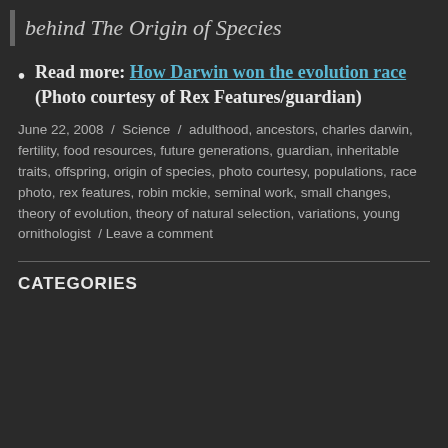behind The Origin of Species
Read more: How Darwin won the evolution race (Photo courtesy of Rex Features/guardian)
June 22, 2008 / Science / adulthood, ancestors, charles darwin, fertility, food resources, future generations, guardian, inheritable traits, offspring, origin of species, photo courtesy, populations, race photo, rex features, robin mckie, seminal work, small changes, theory of evolution, theory of natural selection, variations, young ornithologist / Leave a comment
CATEGORIES